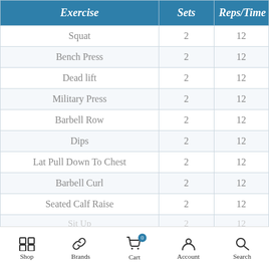| Exercise | Sets | Reps/Time |
| --- | --- | --- |
| Squat | 2 | 12 |
| Bench Press | 2 | 12 |
| Dead lift | 2 | 12 |
| Military Press | 2 | 12 |
| Barbell Row | 2 | 12 |
| Dips | 2 | 12 |
| Lat Pull Down To Chest | 2 | 12 |
| Barbell Curl | 2 | 12 |
| Seated Calf Raise | 2 | 12 |
| Sit Up (partial) | 2 | 12 |
Shop | Brands | Cart (0) | Account | Search